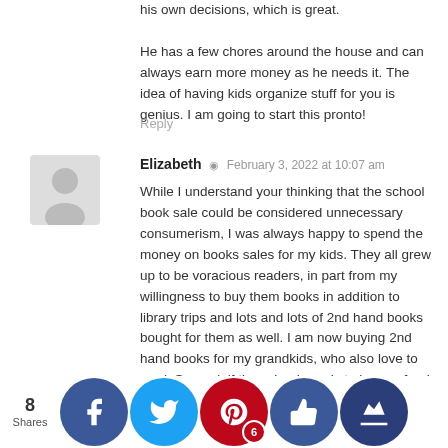his own decisions, which is great.
He has a few chores around the house and can always earn more money as he needs it. The idea of having kids organize stuff for you is genius. I am going to start this pronto!
Reply
Elizabeth · February 3, 2022 at 10:07 am
While I understand your thinking that the school book sale could be considered unnecessary consumerism, I was always happy to spend the money on books sales for my kids. They all grew up to be voracious readers, in part from my willingness to buy them books in addition to library trips and lots and lots of 2nd hand books bought for them as well. I am now buying 2nd hand books for my grandkids, who also love to read. Second, if the school needs to have a fund raiser (and unfortunately what school doesn't?), I would much rather it be books than candy, cards, wrapping paper, etc. By using books as a fund raiser, the school is encouraging them to read, giving kids an opportunity to choose what they want to read, giving them a chance to b... own... libra... ll as r...g the importance of rea...g.